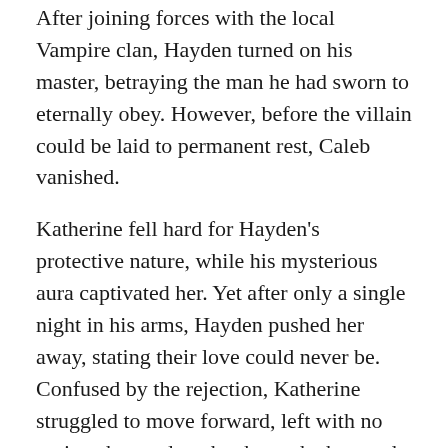After joining forces with the local Vampire clan, Hayden turned on his master, betraying the man he had sworn to eternally obey. However, before the villain could be laid to permanent rest, Caleb vanished.
Katherine fell hard for Hayden's protective nature, while his mysterious aura captivated her. Yet after only a single night in his arms, Hayden pushed her away, stating their love could never be. Confused by the rejection, Katherine struggled to move forward, left with no options but to deny her heart the battered soul it craved.
Now, Caleb has returned, set on delivering vengeance against both the man who betrayed him, and the catalyst for his defection. Katherine and Hayden must discover a way to avoid Caleb's evil intent, while determining if there is any future for their love.